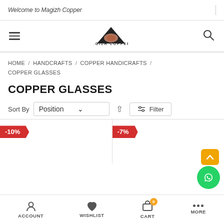Welcome to Magizh Copper
[Figure (logo): Magizh Copper logo with triangle/pyramid shape and brand name]
HOME / HANDCRAFTS / COPPER HANDICRAFTS / COPPER GLASSES
COPPER GLASSES
Sort By  Position  Filter
[Figure (other): Product grid with two items showing -10% and -7% discount badges]
ACCOUNT  WISHLIST  CART  MORE